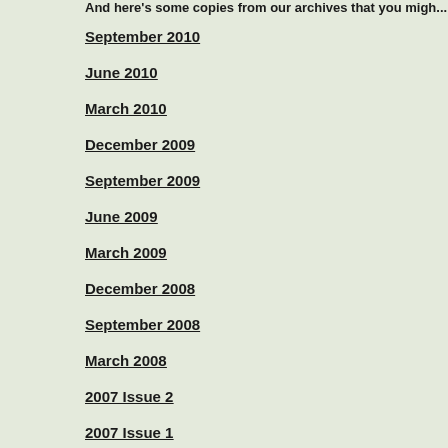And here's some copies from our archives that you migh...
September 2010
June 2010
March 2010
December 2009
September 2009
June 2009
March 2009
December 2008
September 2008
March 2008
2007 Issue 2
2007 Issue 1